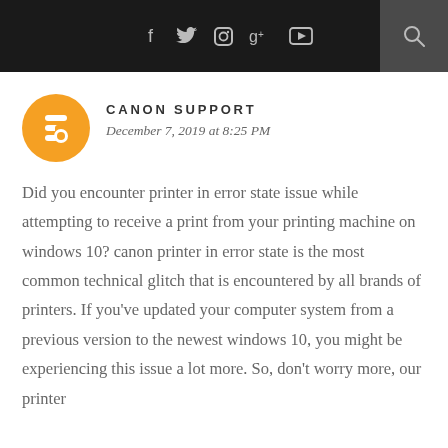[Figure (screenshot): Dark top navigation bar with social media icons (Facebook, Twitter, Instagram, Google+, YouTube) and a search icon]
CANON SUPPORT
December 7, 2019 at 8:25 PM
Did you encounter printer in error state issue while attempting to receive a print from your printing machine on windows 10? canon printer in error state is the most common technical glitch that is encountered by all brands of printers. If you've updated your computer system from a previous version to the newest windows 10, you might be experiencing this issue a lot more. So, don't worry more, our printer